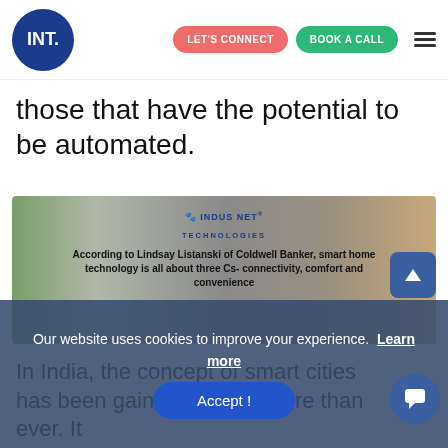INT. | LET'S CONNECT | BOOK A CALL
those that have the potential to be automated.
[Figure (photo): Indus Net Technologies branded image of a modern living room with quote: According to Lindsay Listanski of Coldwell Banker, smart home technology is all about three Cs- connectivity, comfort and convenience]
In India, the concept of smart cities has been gaining ground more than ever. It should help provide the ecosystem and be adapting smart... in a larger way. Startups in India are currently jumping onto
Our website uses cookies to improve your experience. Learn more
Accept !